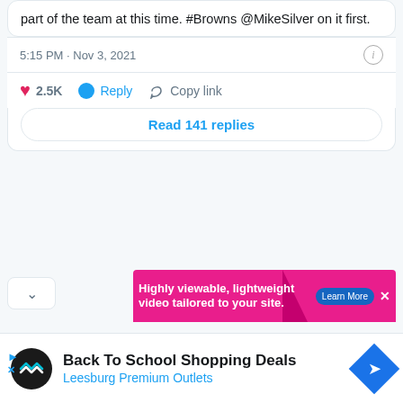part of the team at this time. #Browns @MikeSilver on it first.
5:15 PM · Nov 3, 2021
2.5K  Reply  Copy link
Read 141 replies
[Figure (screenshot): Pink ad banner: Highly viewable, lightweight video tailored to your site. Learn More button. Close X icon.]
Back To School Shopping Deals
Leesburg Premium Outlets